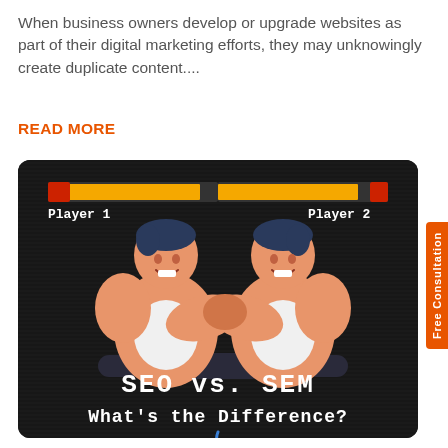When business owners develop or upgrade websites as part of their digital marketing efforts, they may unknowingly create duplicate content....
READ MORE
[Figure (illustration): Video game style illustration showing two muscular cartoon men arm wrestling, with health bars labeled 'Player 1' and 'Player 2' at the top, on a dark background. Text at bottom reads 'SEO vs. SEM What's the Difference?']